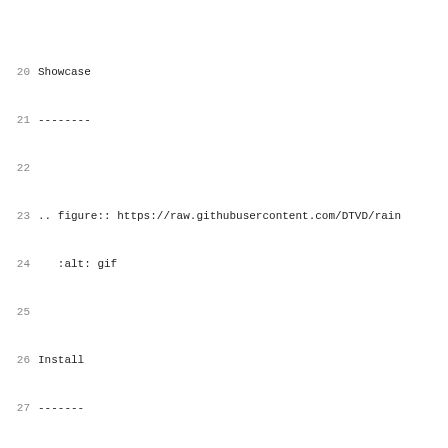20 Showcase
21 --------
22 
23 .. figure:: https://raw.githubusercontent.com/DTVD/rain
24    :alt: gif
25 
26 Install
27 -------
28 
29 The quick way
30 ^^^^^^^^^^^^^
31 
32 You will need Python and pip (2.7.x or 3.x).
33 
34 .. code:: bash
35 
36     sudo pip install rainbowstream
37     # Python 3 users: sudo pip3 install rainbowstream
38 
39 
40 The recommended way
41 ^^^^^^^^^^^^^^^^^^^
42 
43 Use `virtualenv`_
44 
45 .. code:: bash
46 
47     virtualenv venv
48     # Python 3 users : use -p to specify your Python 3
49     # virtualenv -p /usr/bin/python3 venv
50     source venv/bin/activate
51     pip install rainbowstream